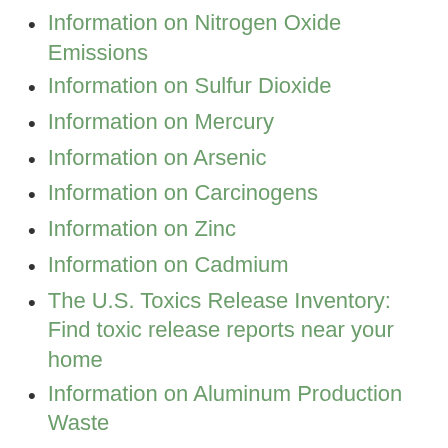Information on Nitrogen Oxide Emissions
Information on Sulfur Dioxide
Information on Mercury
Information on Arsenic
Information on Carcinogens
Information on Zinc
Information on Cadmium
The U.S. Toxics Release Inventory: Find toxic release reports near your home
Information on Aluminum Production Waste
Question and Answer about the future of La Oroya, Peru, one of the most polluted places on earth
Nevada Department of the Environment Nevada Mercury